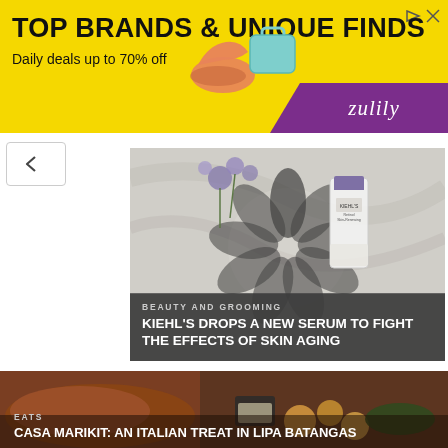[Figure (screenshot): Zulily advertisement banner with yellow background. Text reads TOP BRANDS & UNIQUE FINDS / Daily deals up to 70% off. Purple section with Zulily logo on right.]
[Figure (photo): Kiehl's product photo showing a serum bottle with lavender floral design on marble background]
BEAUTY AND GROOMING
KIEHL'S DROPS A NEW SERUM TO FIGHT THE EFFECTS OF SKIN AGING
[Figure (photo): Food photo showing a grilled steak/meat dish with roasted potatoes, vegetables, and a dipping sauce]
EATS
CASA MARIKIT: AN ITALIAN TREAT IN LIPA BATANGAS